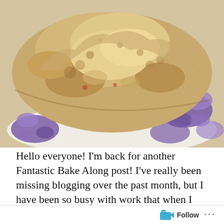[Figure (photo): Close-up photo of a golden-brown scone on a plate with purple floral pattern, showing the rough crumbly texture of the baked good]
Hello everyone! I'm back for another Fantastic Bake Along post! I've really been missing blogging over the past month, but I have been so busy with work that when I have had down time, the last thing I wanted to do was turn on my computer and write. I hope things slow
Privacy & Cookies: This site uses cookies. By continuing to use this website, you agree to their use.
To find out more, including how to control cookies, see here: Cookie Policy
Close and accept
Follow ...